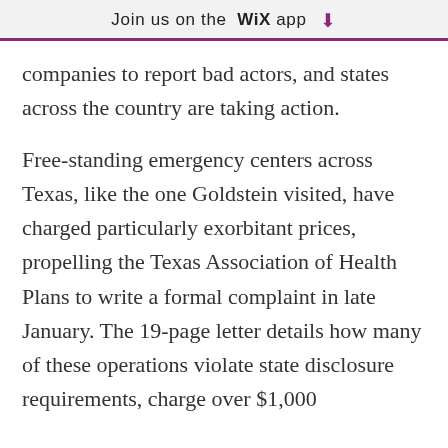Join us on the WiX app ⬇
companies to report bad actors, and states across the country are taking action.
Free-standing emergency centers across Texas, like the one Goldstein visited, have charged particularly exorbitant prices, propelling the Texas Association of Health Plans to write a formal complaint in late January. The 19-page letter details how many of these operations violate state disclosure requirements, charge over $1,000